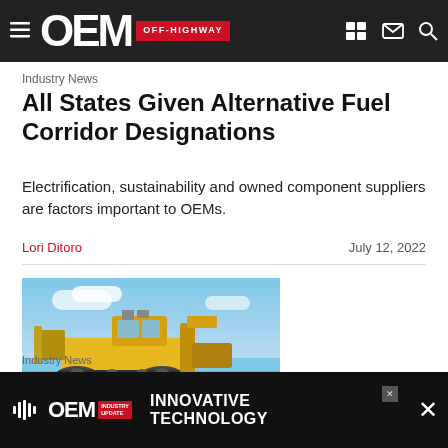OEM OFF-HIGHWAY
Industry News
All States Given Alternative Fuel Corridor Designations
Electrification, sustainability and owned component suppliers are factors important to OEMs.
Lori Ditoro   July 12, 2022
[Figure (photo): Yellow construction/mining equipment (bulldozer or motor grader) in a field with blue sky background]
Industry News
[Figure (infographic): OEM Industry Update advertisement banner: INNOVATIVE TECHNOLOGY]